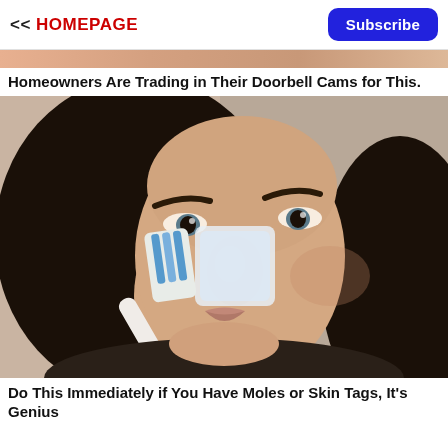<< HOMEPAGE   Subscribe
[Figure (photo): Partial view of advertisement banner at top of page]
Homeowners Are Trading in Their Doorbell Cams for This.
[Figure (photo): Woman with dark hair holding a toothbrush against her nose, seemingly demonstrating a beauty or health technique.]
Do This Immediately if You Have Moles or Skin Tags, It's Genius